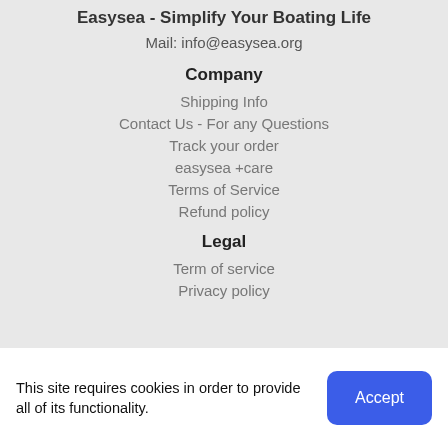Easysea - Simplify Your Boating Life
Mail: info@easysea.org
Company
Shipping Info
Contact Us - For any Questions
Track your order
easysea +care
Terms of Service
Refund policy
Legal
Term of service
Privacy policy
This site requires cookies in order to provide all of its functionality.